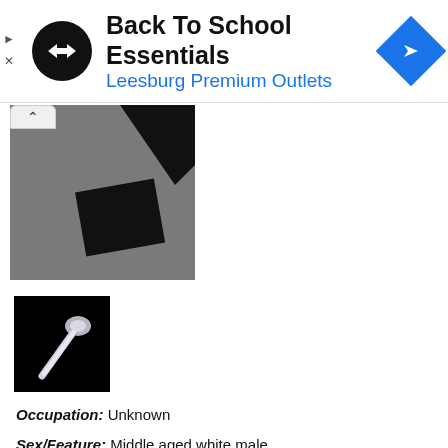[Figure (logo): Advertisement banner: black circular logo with double arrow symbol, text 'Back To School Essentials' and 'Leesburg Premium Outlets' in blue, blue diamond nav icon on right]
[Figure (screenshot): Main gray image block with black partial shape (looks like a clothing/bag item), with a rounded tab at top left showing a caret/up arrow]
[Figure (photo): Small black thumbnail image showing a spoon with light reflection against dark background]
Occupation: Unknown
Sex/Feature: Middle aged white male
Height/Weight: 190 cm, 84 kg
Hobby: Unknown